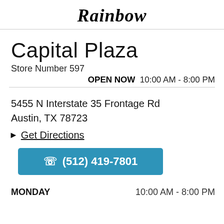Rainbow
Capital Plaza
Store Number 597
OPEN NOW  10:00 AM - 8:00 PM
5455 N Interstate 35 Frontage Rd
Austin, TX 78723
◀ Get Directions
(512) 419-7801
MONDAY    10:00 AM - 8:00 PM